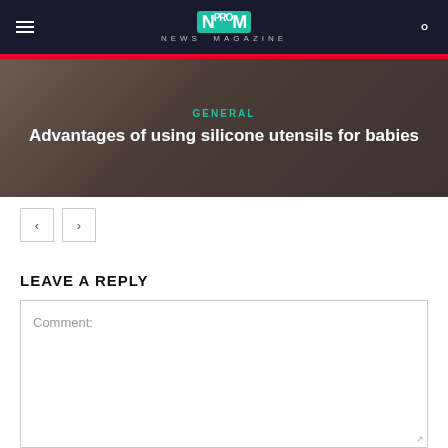NM PRO NEWS MAGAZINE
[Figure (screenshot): Hero image showing silicone utensils with dark background, displaying article title 'Advantages of using silicone utensils for babies' and category label 'GENERAL']
Advantages of using silicone utensils for babies
LEAVE A REPLY
Comment: